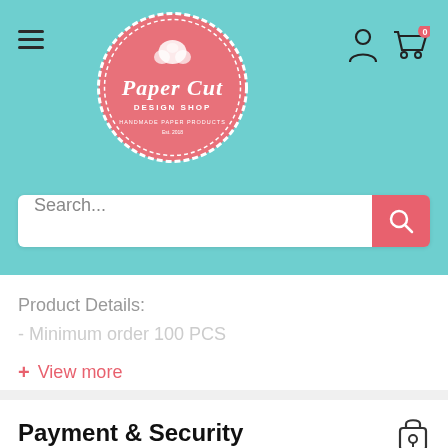[Figure (logo): Paper Cut Design Shop circular logo in pink/salmon color with rose illustration and text 'Paper Cut Design Shop, Handmade Paper Products']
Search...
Product Details:
- Minimum order 100 PCS
+ View more
Payment & Security
[Figure (infographic): Payment method logos: AMEX, Apple Pay, Discover, Meta Pay, Mastercard, PayPal, O Pay, Venmo, Visa]